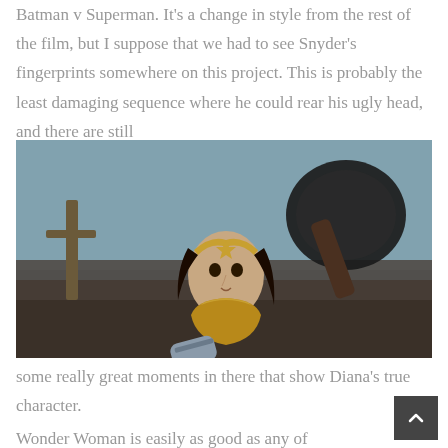Batman v Superman. It's a change in style from the rest of the film, but I suppose that we had to see Snyder's fingerprints somewhere on this project. This is probably the least damaging sequence where he could rear his ugly head, and there are still
[Figure (photo): Wonder Woman (Gal Gadot) in battle pose wearing golden armor and tiara, holding a shield, action scene from a DC film]
some really great moments in there that show Diana's true character.
Wonder Woman is easily as good as any of